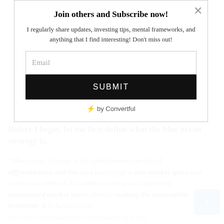Join others and Subscribe now!
I regularly share updates, investing tips, mental frameworks, and anything that I find interesting! Don't miss out!
Email
SUBMIT
⚡ by Convertful
Before I begin, let me first define what the blue ocean strategy is.
“Blue ocean strategy is the simultaneous pursuit of differentiation and low cost to open up a new market space and create new demand. It is about creating and capturing uncontested market space, thereby making the competition irrelevant. It is based on the view that market boundaries and industry structure
[Figure (other): Scroll-to-top blue button with upward arrow]